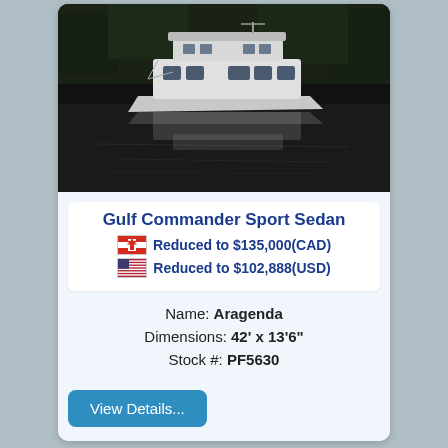[Figure (photo): White sport sedan motor yacht reflected on calm dark water with forested background]
Gulf Commander Sport Sedan
Reduced to $135,000(CAD)
Reduced to $102,888(USD)
Name: Aragenda
Dimensions: 42' x 13'6"
Stock #: PF5630
View Details...